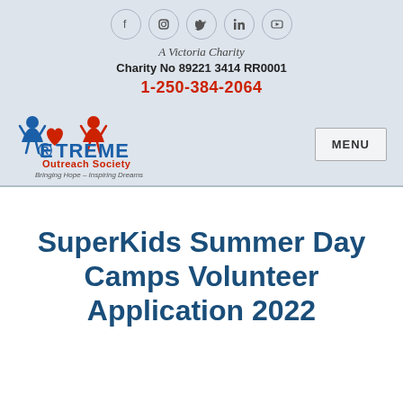[Figure (other): Social media icons: Facebook, Instagram, Twitter, LinkedIn, YouTube — circular outlined icons in a row]
A Victoria Charity
Charity No 89221 3414 RR0001
1-250-384-2064
[Figure (logo): Extreme Outreach Society logo: blue and red text with heart graphic, tagline 'Bringing Hope - Inspiring Dreams']
MENU
SuperKids Summer Day Camps Volunteer Application 2022